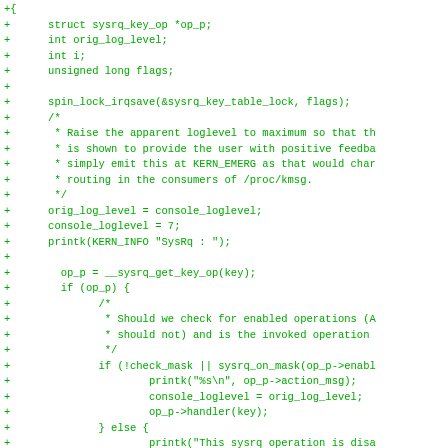[Figure (screenshot): Code diff snippet showing C source code additions (green '+' lines) for a sysrq kernel function, including variable declarations, spin_lock_irqsave call, comment block, log level manipulation, and nested if/else blocks with printk calls.]